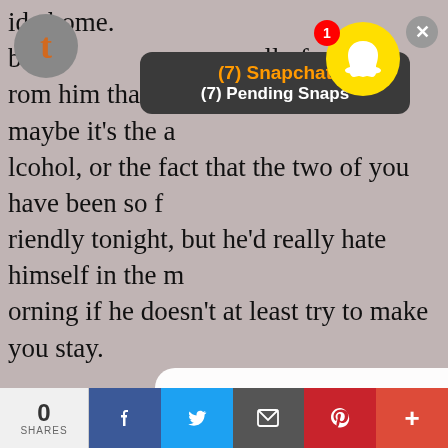ide home.
but th...all...f
rom him that sets him on edge, and maybe it's the alcohol, or the fact that the two of you have been so friendly tonight, but he'd really hate himself in the morning if he doesn't at least try to make you stay.
[Figure (screenshot): Snapchat notification bar showing '(7) Snapchat' and '(7) Pending Snaps' with Snapchat ghost icon and red badge showing 1]
"hey!" he calls out, almost regretting it as soon as he does, but when you turn around to face him again, the look on your face almost as curious as his, he finds it really hard to regret stopping you.
[Figure (screenshot): Modal dialog overlay with bold text 'Click OK To Continue' and a blue 'OK' link button]
you tilt your head, “yeah, tsumu?”
he’s pink in the face, he puts his hand behind his neck, “i know yer probably gonna be busy but…”
0 SHARES | Facebook | Twitter | Email | Pinterest | Plus